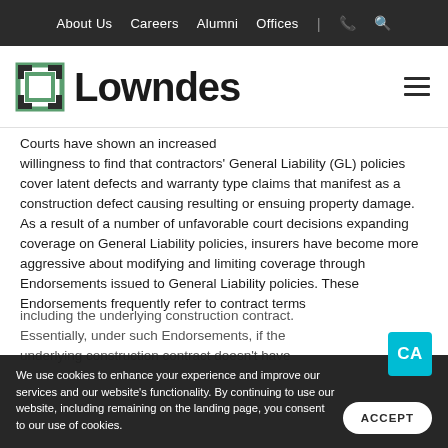About Us  Careers  Alumni  Offices  |  📞  🔍
[Figure (logo): Lowndes law firm logo with green square bracket icon and bold black Lowndes wordmark]
Courts have shown an increased willingness to find that contractors' General Liability (GL) policies cover latent defects and warranty type claims that manifest as a construction defect causing resulting or ensuing property damage. As a result of a number of unfavorable court decisions expanding coverage on General Liability policies, insurers have become more aggressive about modifying and limiting coverage through Endorsements issued to General Liability policies. These Endorsements frequently refer to contract terms including the underlying construction contract. Essentially, under such Endorsements, if the underlying construction contract doesn't have
We use cookies to enhance your experience and improve our services and our website's functionality. By continuing to use our website, including remaining on the landing page, you consent to our use of cookies.